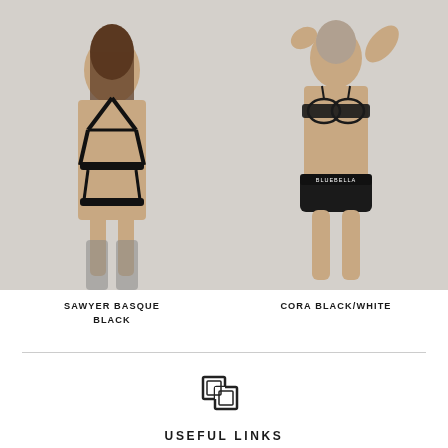[Figure (photo): Two fashion/lingerie product photos side by side. Left: model wearing Sawyer Basque Black strappy lingerie set with garter belt and stockings on light grey background. Right: model wearing Cora Black/White bra and briefs on light grey background.]
SAWYER BASQUE BLACK
CORA BLACK/WHITE
[Figure (logo): Bluebella brand logo - two interlocking square shapes forming a B symbol]
USEFUL LINKS